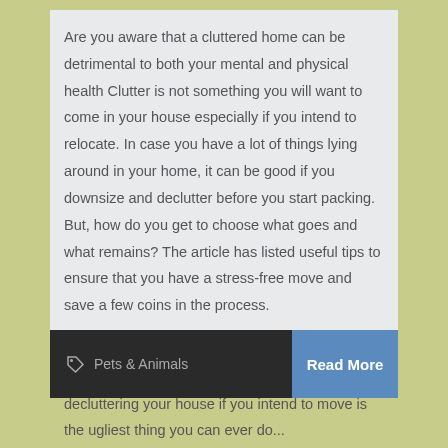Are you aware that a cluttered home can be detrimental to both your mental and physical health Clutter is not something you will want to come in your house especially if you intend to relocate. In case you have a lot of things lying around in your home, it can be good if you downsize and declutter before you start packing. But, how do you get to choose what goes and what remains? The article has listed useful tips to ensure that you have a stress-free move and save a few coins in the process.
Do not delay the process. Waiting until the last seconds to start long distance movers decluttering your house if you intend to move is the ugliest thing you can ever do...
Pets & Animals   Read More